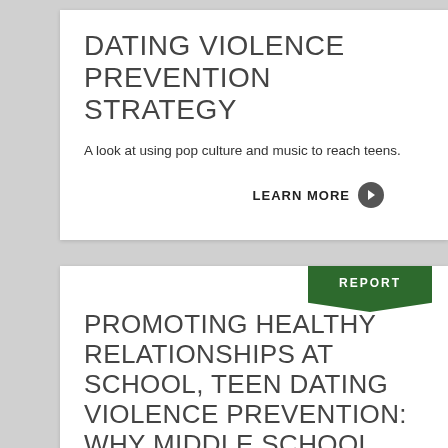DATING VIOLENCE PREVENTION STRATEGY
A look at using pop culture and music to reach teens.
LEARN MORE
[Figure (infographic): Orange tab with a door/enter icon on the right side of the top card]
REPORT
PROMOTING HEALTHY RELATIONSHIPS AT SCHOOL, TEEN DATING VIOLENCE PREVENTION: WHY MIDDLE SCHOOL